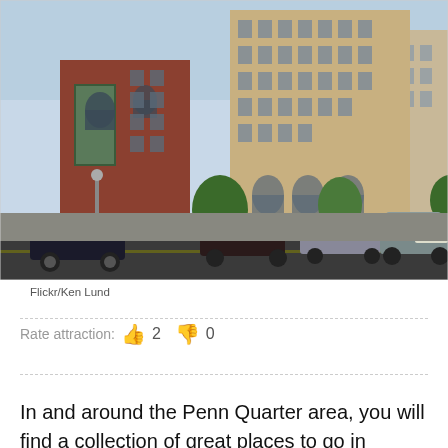[Figure (photo): Street view of Penn Quarter area in Washington DC, showing historic multi-story brick and stone buildings lining a city street with parked cars and trees.]
Flickr/Ken Lund
Rate attraction:  👍 2  👎 0
In and around the Penn Quarter area, you will find a collection of great places to go in Washington, DC. In addition, this area is full